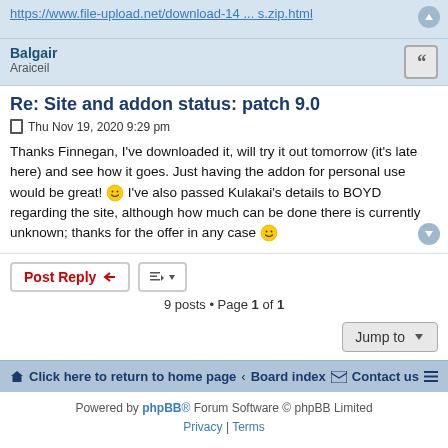https://www.file-upload.net/download-14 ... s.zip.html
Balgair
Araiceil
Re: Site and addon status: patch 9.0
Thu Nov 19, 2020 9:29 pm
Thanks Finnegan, I've downloaded it, will try it out tomorrow (it's late here) and see how it goes. Just having the addon for personal use would be great! I've also passed Kulakai's details to BOYD regarding the site, although how much can be done there is currently unknown; thanks for the offer in any case
9 posts • Page 1 of 1
Click here to return to home page · Board index
Contact us
Powered by phpBB® Forum Software © phpBB Limited
Privacy | Terms